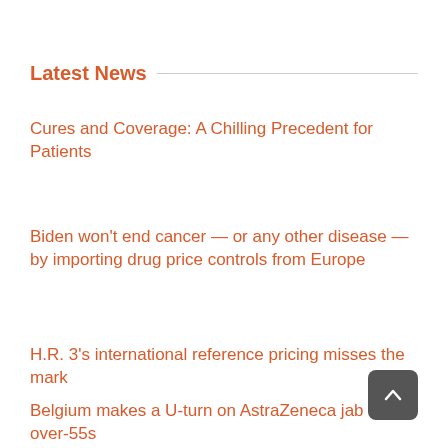Latest News
Cures and Coverage: A Chilling Precedent for Patients
Biden won't end cancer — or any other disease — by importing drug price controls from Europe
H.R. 3's international reference pricing misses the mark
Belgium makes a U-turn on AstraZeneca jab in over-55s